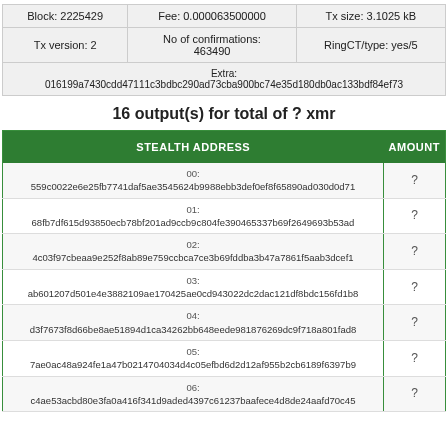| Block: 2225429 | Fee: 0.000063500000 | Tx size: 3.1025 kB |
| --- | --- | --- |
| Tx version: 2 | No of confirmations: 463490 | RingCT/type: yes/5 |
| Extra: 016199a7430cdd47111c3bdbc290ad73cba900bc74e35d180db0ac133bdf84ef73 |  |  |
16 output(s) for total of ? xmr
| STEALTH ADDRESS | AMOUNT |
| --- | --- |
| 00:
559c0022e6e25fb7741daf5ae3545624b9988ebb3def0ef8f65890ad030d0d71 | ? |
| 01:
68fb7df615d93850ecb78bf201ad9ccb9c804fe390465337b69f2649693b53ad | ? |
| 02:
4c03f97cbeaa9e252f8ab89e759ccbca7ce3b69fddba3b47a7861f5aab3dcef1 | ? |
| 03:
ab601207d501e4e3882109ae170425ae0cd943022dc2dac121df8bdc156fd1b8 | ? |
| 04:
d3f7673f8d66be8ae51894d1ca34262bb648eede981876269dc9f718a801fad8 | ? |
| 05:
7ae0ac48a924fe1a47b0214704034d4c05efbd6d2d12af955b2cb6189f6397b9 | ? |
| 06:
c4ae53acbd80e3fa0a416f341d9aded4397c61237baafece4d8de24aafd70c45 | ? |